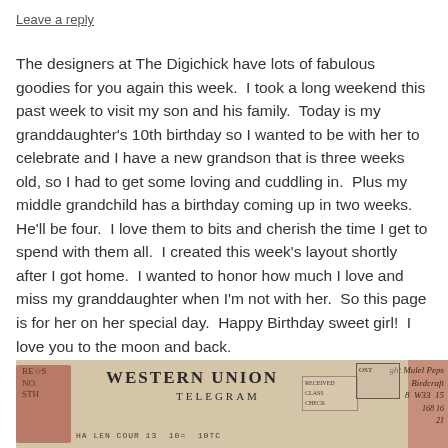Leave a reply
The designers at The Digichick have lots of fabulous goodies for you again this week.  I took a long weekend this past week to visit my son and his family.  Today is my granddaughter's 10th birthday so I wanted to be with her to celebrate and I have a new grandson that is three weeks old, so I had to get some loving and cuddling in.  Plus my middle grandchild has a birthday coming up in two weeks.  He'll be four.  I love them to bits and cherish the time I get to spend with them all.  I created this week's layout shortly after I got home.  I wanted to honor how much I love and miss my granddaughter when I'm not with her.  So this page is for her on her special day.  Happy Birthday sweet girl!  I love you to the moon and back.
[Figure (photo): Western Union Telegram vintage document image collage with red and rose overlays, showing partial text 'WESTERN UNION TELEGRAM' and handwritten script text to the right]